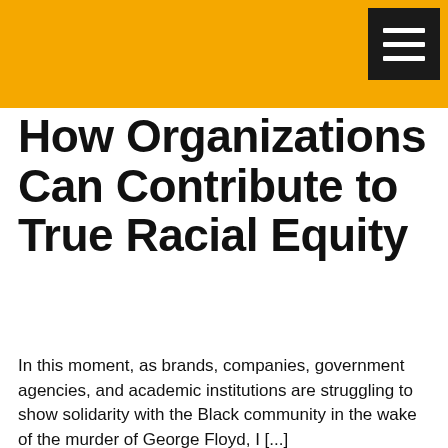How Organizations Can Contribute to True Racial Equity
In this moment, as brands, companies, government agencies, and academic institutions are struggling to show solidarity with the Black community in the wake of the murder of George Floyd, I [...]
[Figure (photo): Person with natural hair resting on a surface, looking down, with light coming through blinds in the background]